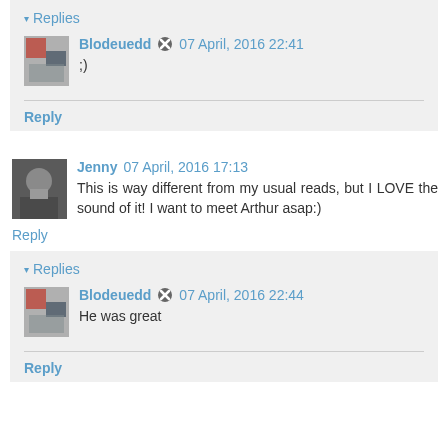▾ Replies
Blodeuedd  07 April, 2016 22:41
;)
Reply
Jenny  07 April, 2016 17:13
This is way different from my usual reads, but I LOVE the sound of it! I want to meet Arthur asap:)
Reply
▾ Replies
Blodeuedd  07 April, 2016 22:44
He was great
Reply